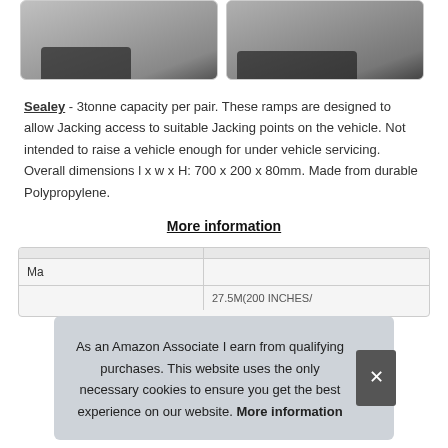[Figure (photo): Two product photos of Sealey car ramps shown side by side at the top of the page, partially visible.]
Sealey - 3tonne capacity per pair. These ramps are designed to allow Jacking access to suitable Jacking points on the vehicle. Not intended to raise a vehicle enough for under vehicle servicing. Overall dimensions l x w x H: 700 x 200 x 80mm. Made from durable Polypropylene.
More information
| Ma |  |
As an Amazon Associate I earn from qualifying purchases. This website uses the only necessary cookies to ensure you get the best experience on our website. More information